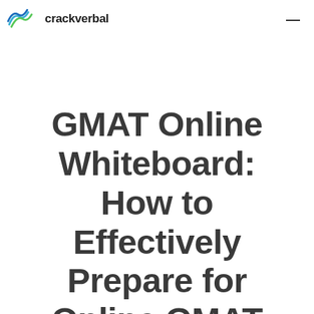crackverbal
GMAT Online Whiteboard: How to Effectively Prepare for Online GMAT